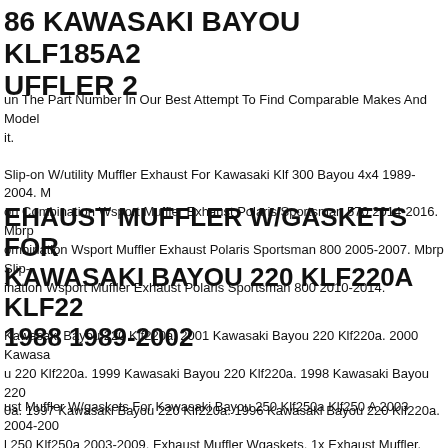86 KAWASAKI BAYOU KLF185A2 UFFLER 2
un The Part Number In Our Best Attempt To Find Comparable Makes And Models it.
Slip-on W/utility Muffler Exhaust For Kawasaki Klf 300 Bayou 4x4 1989-2004. M on Combination Wsport Muffler Exhaust Polaris Sportsman 570 2014-2016. Mbrp ombination Wsport Muffler Exhaust Polaris Sportsman 800 2005-2007. Mbrp Slip- ination Wsport Muffler Exhaust Polaris Sportsman 800 2010-2014.
EHAUST MUFFLER W/GASKETS FOR KAWASAKI BAYOU 220 KLF220A KLF22 1988 1989-2002
Kawasaki Bayou 220 Klf220a. 2001 Kawasaki Bayou 220 Klf220a. 2000 Kawasa u 220 Klf220a. 1999 Kawasaki Bayou 220 Klf220a. 1998 Kawasaki Bayou 220 0a. 1997 Kawasaki Bayou 220 Klf220a. 1996 Kawasaki Bayou 220 Klf220a.
ust Muffler W/gaskets For Kawasaki Bayou 250 Klf250a Klf250 A 2003 2004-200 l 250 Klf250a 2003-2009. Exhaust Muffler Wgaskets. 1x Exhaust Muffler. Fits